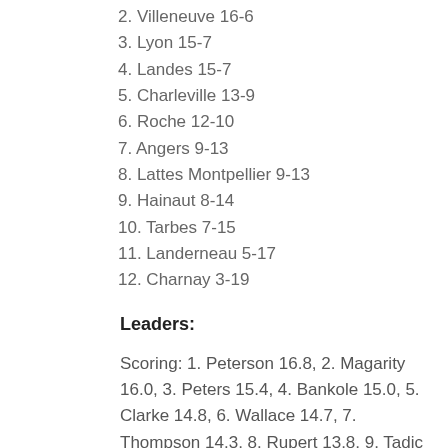2. Villeneuve 16-6
3. Lyon 15-7
4. Landes 15-7
5. Charleville 13-9
6. Roche 12-10
7. Angers 9-13
8. Lattes Montpellier 9-13
9. Hainaut 8-14
10. Tarbes 7-15
11. Landerneau 5-17
12. Charnay 3-19
Leaders:
Scoring: 1. Peterson 16.8, 2. Magarity 16.0, 3. Peters 15.4, 4. Bankole 15.0, 5. Clarke 14.8, 6. Wallace 14.7, 7. Thompson 14.3, 8. Rupert 13.8, 9. Tadic 13.6, 10. Reimer 13.2